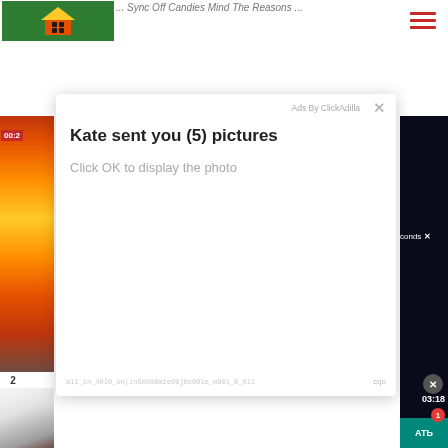[Figure (screenshot): Website navigation bar with green logo box containing a house icon, and a hamburger menu icon on the right.]
[Figure (screenshot): Ad modal popup over a webpage. Shows 'Ads By ClickAdilla' with X close button. Title: 'Kate sent you (5) pictures'. Subtitle: 'Click OK to display the photo'. Background shows partial food image on left, dark video panel on right with timer '00:2', 'conds x', timer '03:18', close button, notification badge '1', and teal button with Cyrillic text.]